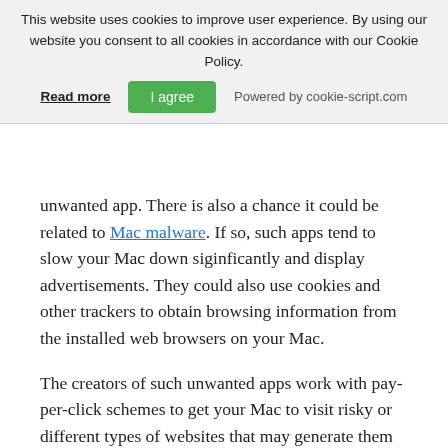This website uses cookies to improve user experience. By using our website you consent to all cookies in accordance with our Cookie Policy.
Read more | I agree | Powered by cookie-script.com
unwanted app. There is also a chance it could be related to Mac malware. If so, such apps tend to slow your Mac down siginficantly and display advertisements. They could also use cookies and other trackers to obtain browsing information from the installed web browsers on your Mac.
The creators of such unwanted apps work with pay-per-click schemes to get your Mac to visit risky or different types of websites that may generate them funds. This is why they do not even care what types of websites show up on the ads. This makes their unwanted software indirectly risky for your MacOS.